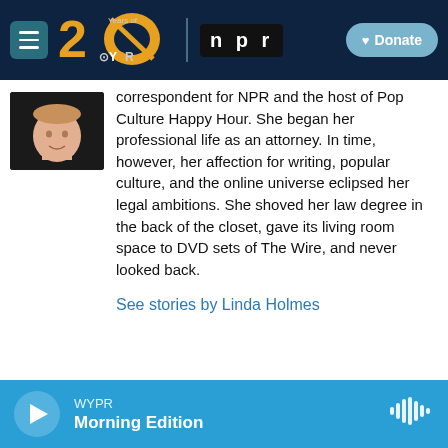WYPR 20 Years of WYPR | npr  Donate
[Figure (photo): Headshot of Linda Holmes, a woman wearing a black top, photo cropped at shoulders]
correspondent for NPR and the host of Pop Culture Happy Hour. She began her professional life as an attorney. In time, however, her affection for writing, popular culture, and the online universe eclipsed her legal ambitions. She shoved her law degree in the back of the closet, gave its living room space to DVD sets of The Wire, and never looked back.
See stories by Linda Holmes
WYPR  Morning Edition